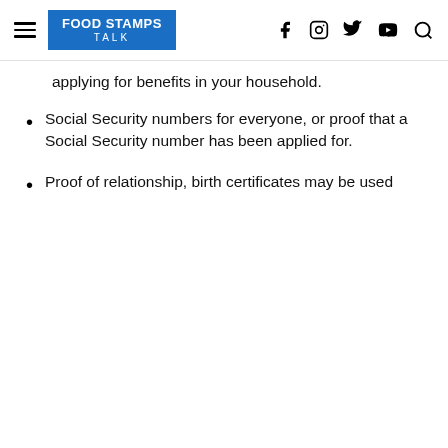FOOD STAMPS TALK
applying for benefits in your household.
Social Security numbers for everyone, or proof that a Social Security number has been applied for.
Proof of relationship, birth certificates may be used